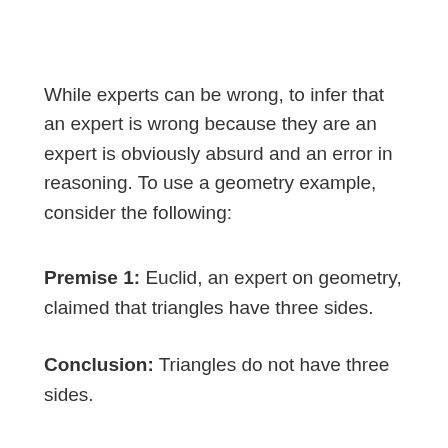While experts can be wrong, to infer that an expert is wrong because they are an expert is obviously absurd and an error in reasoning. To use a geometry example, consider the following:
Premise 1: Euclid, an expert on geometry, claimed that triangles have three sides.
Conclusion: Triangles do not have three sides.